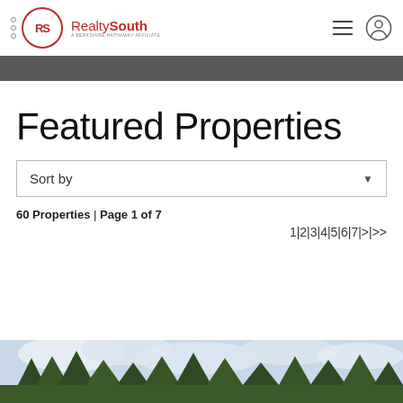RealtySouth — Featured Properties header navigation
Featured Properties
Sort by
60 Properties | Page 1 of 7
1|2|3|4|5|6|7|>|>>
[Figure (photo): Partial property listing photo showing outdoor scene with trees and cloudy sky]